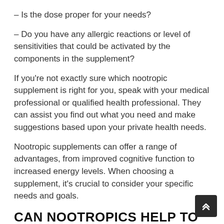– Is the dose proper for your needs?
– Do you have any allergic reactions or level of sensitivities that could be activated by the components in the supplement?
If you're not exactly sure which nootropic supplement is right for you, speak with your medical professional or qualified health professional. They can assist you find out what you need and make suggestions based upon your private health needs.
Nootropic supplements can offer a range of advantages, from improved cognitive function to increased energy levels. When choosing a supplement, it's crucial to consider your specific needs and goals.
CAN NOOTROPICS HELP TO